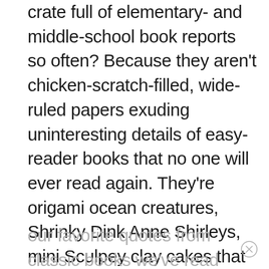crate full of elementary- and middle-school book reports so often? Because they aren't chicken-scratch-filled, wide-ruled papers exuding uninteresting details of easy-reader books that no one will ever read again. They're origami ocean creatures, Shrinky Dink Anne Shirleys, mini Sculpey clay cakes that announce “Eat Me,” and many other handmade Christmas ornaments reminiscent of characters, scenes, and our favorite quotes from classic books we’ve read together over the years.